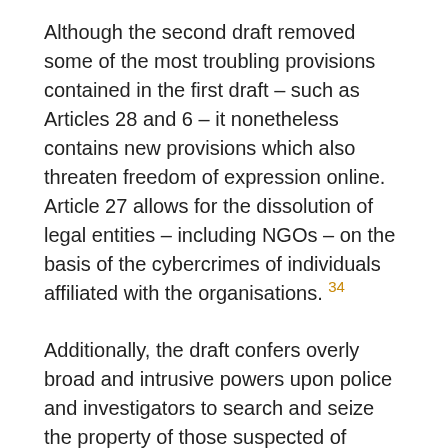Although the second draft removed some of the most troubling provisions contained in the first draft – such as Articles 28 and 6 – it nonetheless contains new provisions which also threaten freedom of expression online. Article 27 allows for the dissolution of legal entities – including NGOs – on the basis of the cybercrimes of individuals affiliated with the organisations. 34
Additionally, the draft confers overly broad and intrusive powers upon police and investigators to search and seize the property of those suspected of cybercrimes, with a complete lack of judicial oversight and procedural safeguards, threatening the right to privacy and the right to freedom of expression.